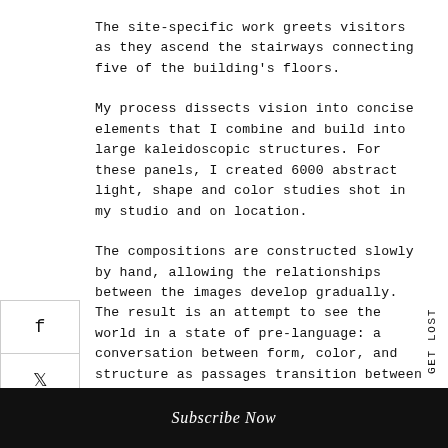The site-specific work greets visitors as they ascend the stairways connecting five of the building's floors.
My process dissects vision into concise elements that I combine and build into large kaleidoscopic structures. For these panels, I created 6000 abstract light, shape and color studies shot in my studio and on location.
The compositions are constructed slowly by hand, allowing the relationships between the images develop gradually. The result is an attempt to see the world in a state of pre-language: a conversation between form, color, and structure as passages transition between dynamism and calm.
Subscribe Now